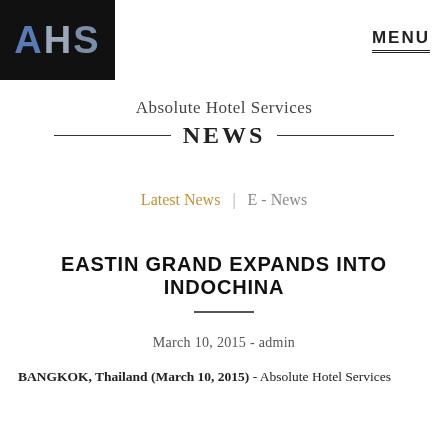[Figure (logo): AHS logo — white text on black background, with colored letters: A in steel blue, H in light gray, S in slate gray]
MENU
Absolute Hotel Services
NEWS
Latest News  |  E - News
EASTIN GRAND EXPANDS INTO INDOCHINA
March 10, 2015 - admin
BANGKOK, Thailand (March 10, 2015) - Absolute Hotel Services